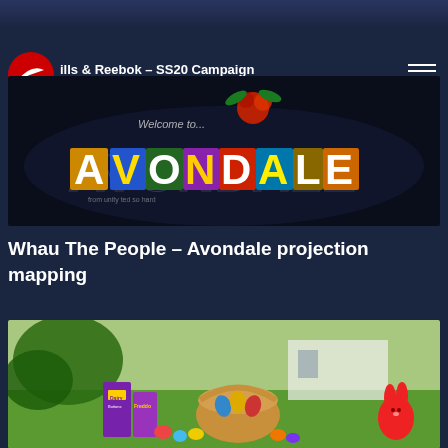[Figure (photo): Dark top banner strip]
ills & Reebok - SS20 Campaign
[Figure (photo): Welcome to Avondale projection mapping image - colorful letters spelling AVONDALE on a dark background with a red hibiscus flower on top]
Whau The People – Avondale projection mapping
[Figure (photo): Easter themed product photo with Cadbury Dairy Milk Buttons box, chocolate eggs in a basket, colorful Easter eggs on grass, and a red bunny figurine]